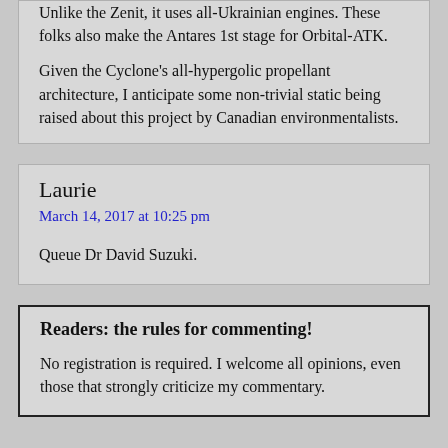Unlike the Zenit, it uses all-Ukrainian engines. These folks also make the Antares 1st stage for Orbital-ATK.

Given the Cyclone's all-hypergolic propellant architecture, I anticipate some non-trivial static being raised about this project by Canadian environmentalists.
Laurie
March 14, 2017 at 10:25 pm
Queue Dr David Suzuki.
Readers: the rules for commenting!
No registration is required. I welcome all opinions, even those that strongly criticize my commentary.